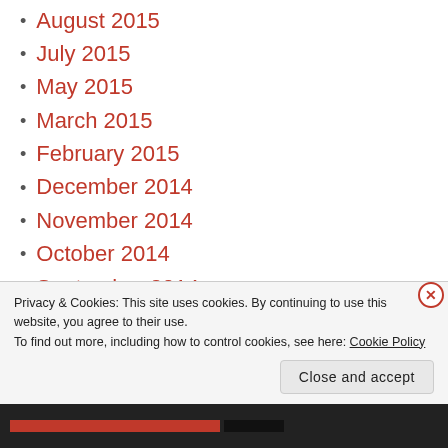August 2015
July 2015
May 2015
March 2015
February 2015
December 2014
November 2014
October 2014
September 2014
July 2014
June 2014
April 2014
March 2014
Privacy & Cookies: This site uses cookies. By continuing to use this website, you agree to their use.
To find out more, including how to control cookies, see here: Cookie Policy
Close and accept